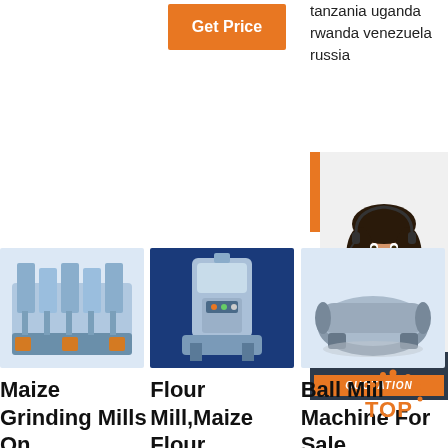[Figure (other): Orange 'Get Price' button]
tanzania uganda rwanda venezuela russia
[Figure (other): 24/7 Online banner with customer service representative photo, 'Click here for free chat!' overlay and orange QUOTATION button]
[Figure (photo): Maize Grinding Mill machine on light blue background]
Maize Grinding Mills On
[Figure (photo): Flour Mill/Maize Flour machine on blue background]
Flour Mill,Maize Flour
[Figure (photo): Ball Mill machine product image on light blue background]
Ball Mill Machine For Sale